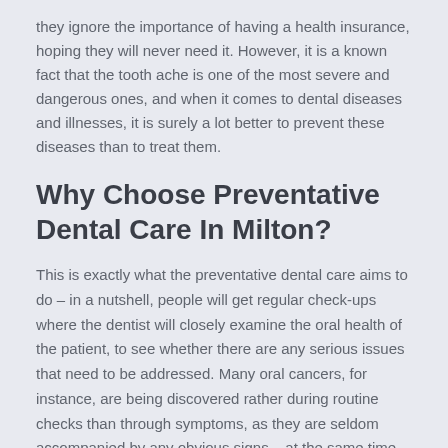they ignore the importance of having a health insurance, hoping they will never need it. However, it is a known fact that the tooth ache is one of the most severe and dangerous ones, and when it comes to dental diseases and illnesses, it is surely a lot better to prevent these diseases than to treat them.
Why Choose Preventative Dental Care In Milton?
This is exactly what the preventative dental care aims to do – in a nutshell, people will get regular check-ups where the dentist will closely examine the oral health of the patient, to see whether there are any serious issues that need to be addressed. Many oral cancers, for instance, are being discovered rather during routine checks than through symptoms, as they are seldom accompanied by any obvious signs – at the same time, your dentist may also identify a periodontal disease in incipient stage and address the problem before it advances and you lose your teeth.
Over the past few years, people have become increasingly more aware about the importance of preventative dental care, and...